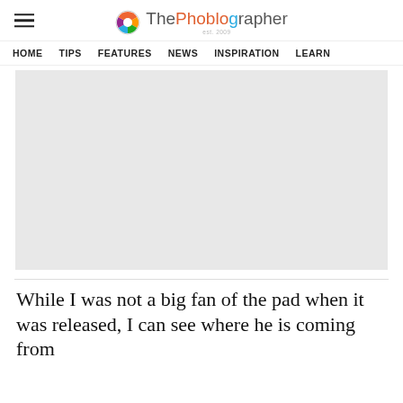ThePhoblographer est. 2009
HOME  TIPS  FEATURES  NEWS  INSPIRATION  LEARN
[Figure (photo): Large gray placeholder image for a photo/article hero image]
While I was not a big fan of the pad when it was released, I can see where he is coming from…